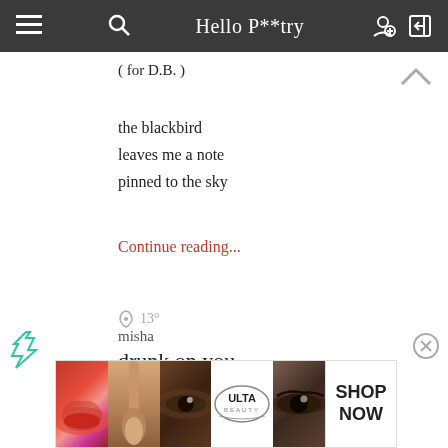Hello P**try
( for D.B. )
the blackbird
leaves me a note
pinned to the sky
Continue reading...
13°
misha
drunk on you
.
[Figure (screenshot): Advertisement banner for ULTA Beauty showing makeup imagery and SHOP NOW call to action]